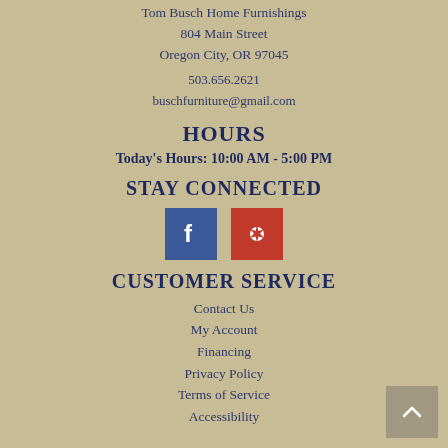Tom Busch Home Furnishings
804 Main Street
Oregon City, OR 97045
503.656.2621
buschfurniture@gmail.com
HOURS
Today's Hours: 10:00 AM - 5:00 PM
STAY CONNECTED
[Figure (logo): Facebook and Yelp social media icon buttons]
CUSTOMER SERVICE
Contact Us
My Account
Financing
Privacy Policy
Terms of Service
Accessibility